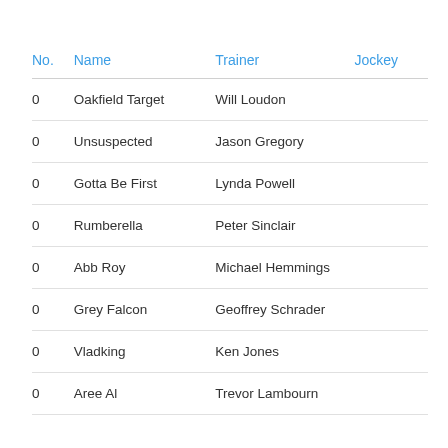| No. | Name | Trainer | Jockey |
| --- | --- | --- | --- |
| 0 | Oakfield Target | Will Loudon |  |
| 0 | Unsuspected | Jason Gregory |  |
| 0 | Gotta Be First | Lynda Powell |  |
| 0 | Rumberella | Peter Sinclair |  |
| 0 | Abb Roy | Michael Hemmings |  |
| 0 | Grey Falcon | Geoffrey Schrader |  |
| 0 | Vladking | Ken Jones |  |
| 0 | Aree Al | Trevor Lambourn |  |